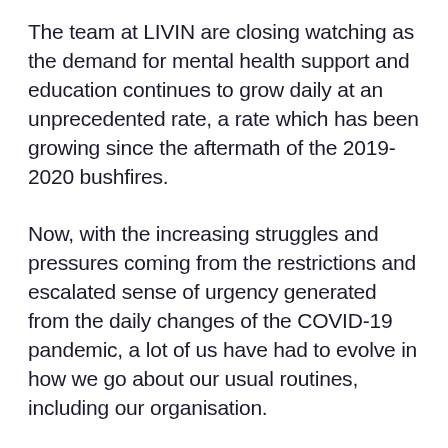The team at LIVIN are closing watching as the demand for mental health support and education continues to grow daily at an unprecedented rate, a rate which has been growing since the aftermath of the 2019-2020 bushfires.
Now, with the increasing struggles and pressures coming from the restrictions and escalated sense of urgency generated from the daily changes of the COVID-19 pandemic, a lot of us have had to evolve in how we go about our usual routines, including our organisation.
Like most workplaces and organisations, our